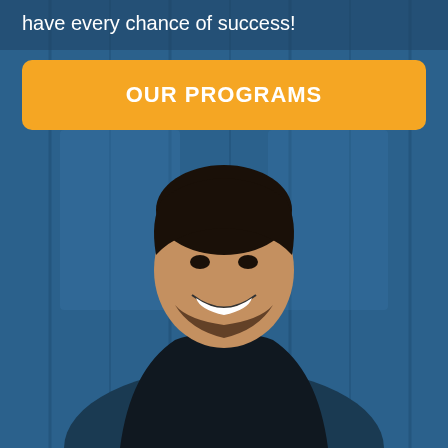have every chance of success!
OUR PROGRAMS
[Figure (photo): A smiling young man with short curly hair and a beard, wearing a black polo shirt, photographed in front of a blue wooden door background.]